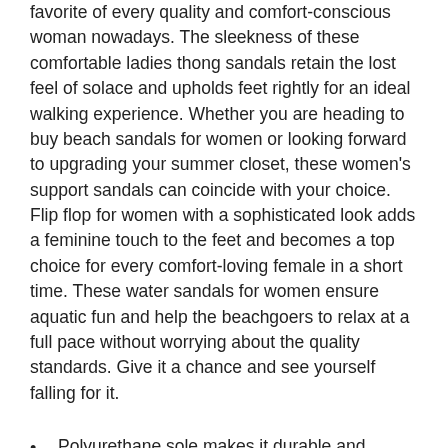favorite of every quality and comfort-conscious woman nowadays. The sleekness of these comfortable ladies thong sandals retain the lost feel of solace and upholds feet rightly for an ideal walking experience. Whether you are heading to buy beach sandals for women or looking forward to upgrading your summer closet, these women's support sandals can coincide with your choice. Flip flop for women with a sophisticated look adds a feminine touch to the feet and becomes a top choice for every comfort-loving female in a short time. These water sandals for women ensure aquatic fun and help the beachgoers to relax at a full pace without worrying about the quality standards. Give it a chance and see yourself falling for it.
Polyurethane sole makes it durable and water-resistant.
Heel height measures around 0.50"
Width measures around 3.7"
Low heel cup for balance and stability.
Ideal for medium arches.
Weighs approximately 0.52 lbs.